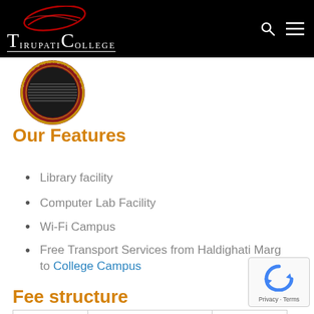TirupatiCollege
[Figure (logo): Tirupati College of Technical Education circular seal/badge in red and gold]
Our Features
Library facility
Computer Lab Facility
Wi-Fi Campus
Free Transport Services from Haldighati Marg to College Campus
Fee structure
|  |  |  |